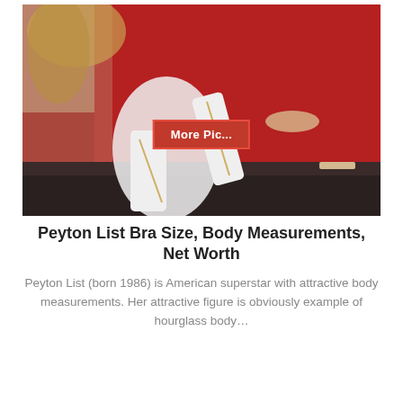[Figure (photo): A woman in white outfit (strapless top and white pants with gold chain detail) reclining against a red background on dark furniture, wearing nude heeled sandals. A red button labeled 'More Pic...' is overlaid near the center-bottom of the image.]
Peyton List Bra Size, Body Measurements, Net Worth
Peyton List (born 1986) is American superstar with attractive body measurements. Her attractive figure is obviously example of hourglass body…